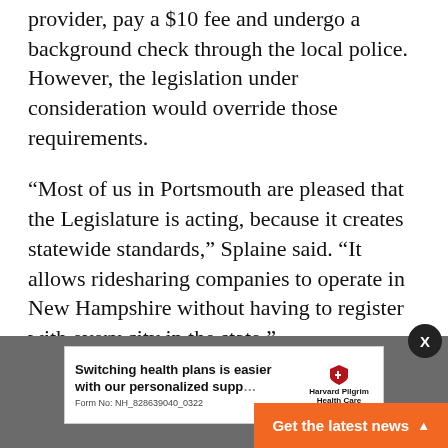provider, pay a $10 fee and undergo a background check through the local police. However, the legislation under consideration would override those requirements.
“Most of us in Portsmouth are pleased that the Legislature is acting, because it creates statewide standards,” Splaine said. “It allows ridesharing companies to operate in New Hampshire without having to register with every city in the state.”
[Figure (infographic): Advertisement for Harvard Pilgrim Health Care with headline 'Switching health plans is easier with our personalized supp...' and form number NH_828639040_0322. Features Harvard Pilgrim shield logo. An orange CTA button reads 'Get the latest news' with an up arrow. A dark close button with X is in the upper right.]